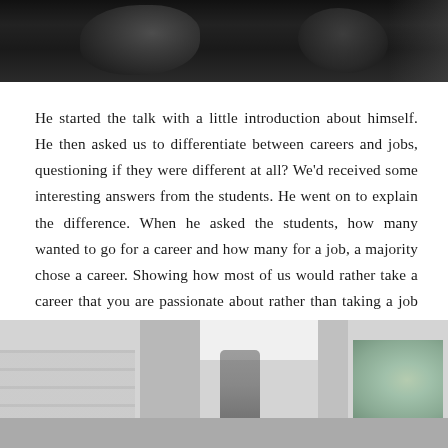[Figure (photo): Dark photograph showing people in a room, figures visible against a dark background]
He started the talk with a little introduction about himself. He then asked us to differentiate between careers and jobs, questioning if they were different at all? We'd received some interesting answers from the students. He went on to explain the difference. When he asked the students, how many wanted to go for a career and how many for a job, a majority chose a career. Showing how most of us would rather take a career that you are passionate about rather than taking a job just to earn a living.
[Figure (photo): Photograph of a building interior showing white walls, pillars, a window with greenery visible outside, and a person standing inside]